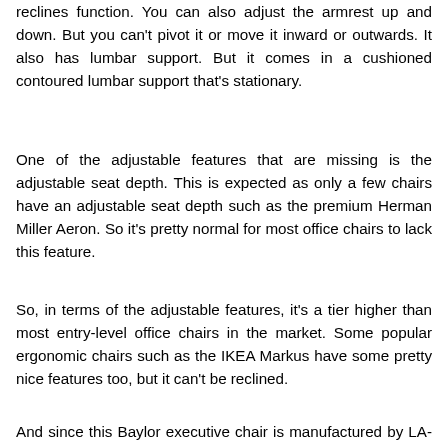reclines function. You can also adjust the armrest up and down. But you can't pivot it or move it inward or outwards. It also has lumbar support. But it comes in a cushioned contoured lumbar support that's stationary.
One of the adjustable features that are missing is the adjustable seat depth. This is expected as only a few chairs have an adjustable seat depth such as the premium Herman Miller Aeron. So it's pretty normal for most office chairs to lack this feature.
So, in terms of the adjustable features, it's a tier higher than most entry-level office chairs in the market. Some popular ergonomic chairs such as the IKEA Markus have some pretty nice features too, but it can't be reclined.
And since this Baylor executive chair is manufactured by LA-Z